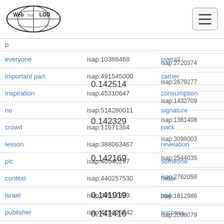Web isa LOD
| word | isap id | word | isap id |
| --- | --- | --- | --- |
| everyone | isap:10386468 | overall | isap:2720374 |
| important part | isap:491545000 | carrier | isap:2679277 |
| inspiration | isap:45310647 | consumption | isap:1432709 |
| no | isap:514280011 | signature | isap:1361408 |
| crowd | isap:11671364 | pack | isap:3098003 |
| lesson | isap:388063467 | revelation | isap:2544035 |
| pic | isap:40540297 | someone | isap:2762058 |
| context | isap:440257530 | radar | isap:1612986 |
| israel | isap:39517933 | ps4 | isap:2098079 |
| publisher | isap:423436642 | success | isap:2668170 |
|  |  | project | isap:2659940 |